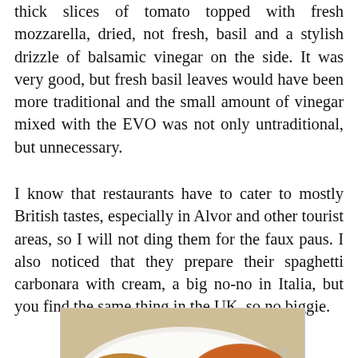thick slices of tomato topped with fresh mozzarella, dried, not fresh, basil and a stylish drizzle of balsamic vinegar on the side. It was very good, but fresh basil leaves would have been more traditional and the small amount of vinegar mixed with the EVO was not only untraditional, but unnecessary.
I know that restaurants have to cater to mostly British tastes, especially in Alvor and other tourist areas, so I will not ding them for the faux paus. I also noticed that they prepare their spaghetti carbonara with cream, a big no-no in Italia, but you find the same thing in the UK, so no biggie.
[Figure (photo): A white plate with two dishes: on the left, breaded chicken topped with mozzarella and tomato slices; on the right, a mound of spaghetti in orange/tomato sauce.]